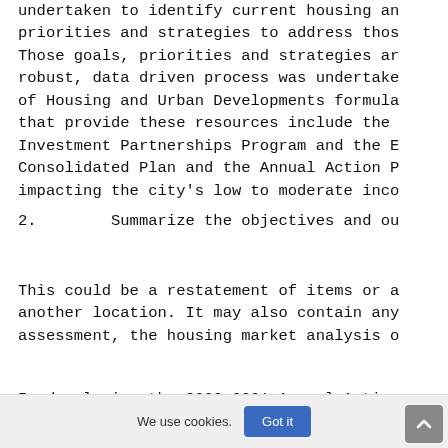undertaken to identify current housing an priorities and strategies to address thos Those goals, priorities and strategies ar robust, data driven process was undertake of Housing and Urban Developments formula that provide these resources include the Investment Partnerships Program and the E Consolidated Plan and the Annual Action P impacting the city's low to moderate inco
2.        Summarize the objectives and ou
This could be a restatement of items or a another location. It may also contain any assessment, the housing market analysis o
In developing the 2020-2021 Annual Action